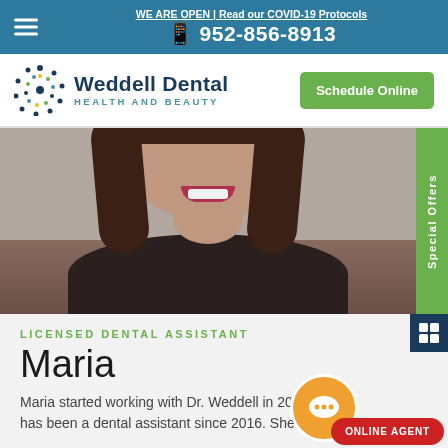WE ARE OPEN | Read our COVID-19 Protocols | 952-856-8913
[Figure (logo): Weddell Dental Health And Beauty logo with circular dot pattern icon]
Schedule Online
[Figure (photo): Portrait photo of Maria, Licensed Dental Assistant, smiling, wearing dark scrubs, long brown hair]
Special Offers
LICENSED DENTAL ASSISTANT
Maria
Maria started working with Dr. Weddell in 2017 and has been a dental assistant since 2016. She is
ONLINE AGENT